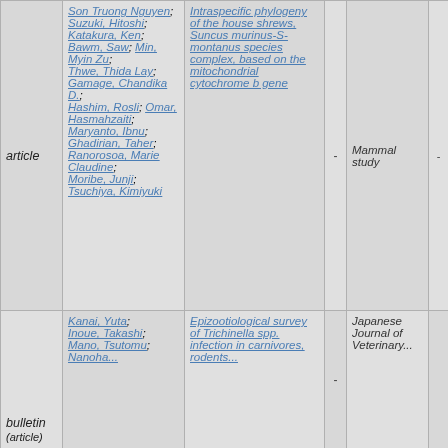| type | authors | title |  | journal |  |
| --- | --- | --- | --- | --- | --- |
| article | Son Truong Nguyen; Suzuki, Hitoshi; Katakura, Ken; Bawm, Saw; Min, Myin Zu; Thwe, Thida Lay; Gamage, Chandika D.; Hashim, Rosli; Omar, Hasmahzaiti; Maryanto, Ibnu; Ghadirian, Taher; Ranorosoa, Marie Claudine; Moribe, Junji; Tsuchiya, Kimiyuki | Intraspecific phylogeny of the house shrews, Suncus murinus-S-montanus species complex, based on the mitochondrial cytochrome b gene | - | Mammal study | - |
| bulletin (article) | Kanai, Yuta; Inoue, Takashi; Mano, Tsutomu; Nanoha... | Epizootiological survey of Trichinella spp. infection in carnivores, rodents... | - | Japanese Journal of Veterinary... |  |